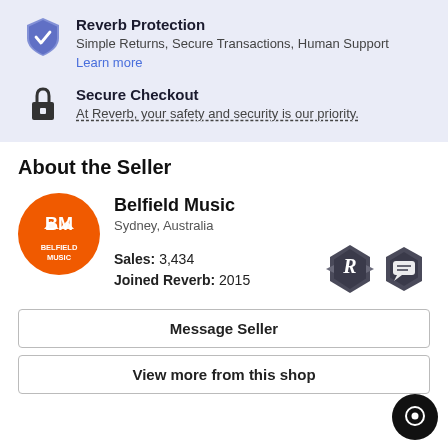Reverb Protection
Simple Returns, Secure Transactions, Human Support
Learn more
Secure Checkout
At Reverb, your safety and security is our priority.
About the Seller
Belfield Music
Sydney, Australia
Sales: 3,434
Joined Reverb: 2015
Message Seller
View more from this shop